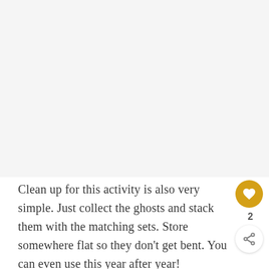[Figure (photo): Large light gray/white rectangular image area occupying the top portion of the page, likely showing a Halloween ghost activity or craft.]
Clean up for this activity is also very simple. Just collect the ghosts and stack them with the matching sets. Store somewhere flat so they don't get bent. You can even use this year after year!